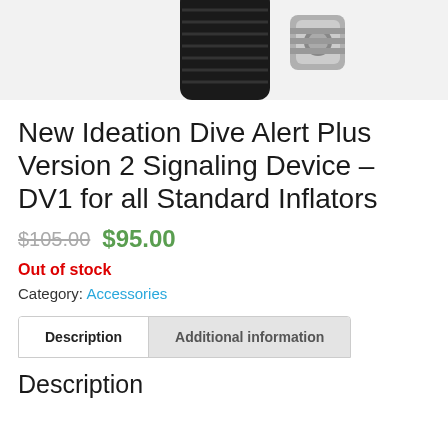[Figure (photo): Product photo showing a black diving signaling device with a chrome threaded connector, partial crop at top of page]
New Ideation Dive Alert Plus Version 2 Signaling Device – DV1 for all Standard Inflators
$105.00 $95.00
Out of stock
Category: Accessories
Description | Additional information
Description